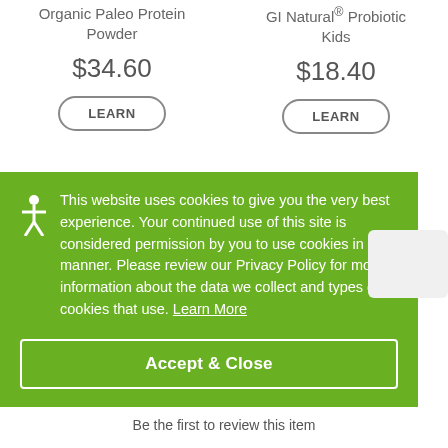Organic Paleo Protein Powder
$34.60
LEARN
GI Natural® Probiotic Kids
$18.40
LEARN
This website uses cookies to give you the very best experience. Your continued use of this site is considered permission by you to use cookies in this manner. Please review our Privacy Policy for more information about the data we collect and types of cookies that use. Learn More
Accept & Close
Be the first to review this item